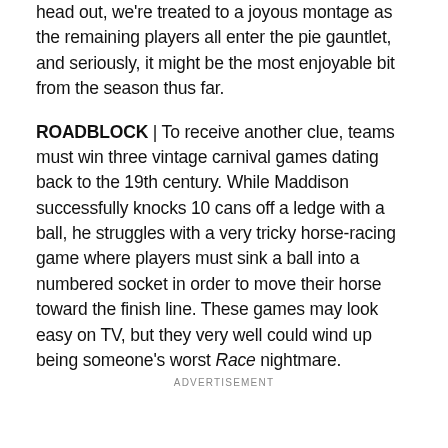head out, we're treated to a joyous montage as the remaining players all enter the pie gauntlet, and seriously, it might be the most enjoyable bit from the season thus far.
ROADBLOCK | To receive another clue, teams must win three vintage carnival games dating back to the 19th century. While Maddison successfully knocks 10 cans off a ledge with a ball, he struggles with a very tricky horse-racing game where players must sink a ball into a numbered socket in order to move their horse toward the finish line. These games may look easy on TV, but they very well could wind up being someone's worst Race nightmare.
ADVERTISEMENT